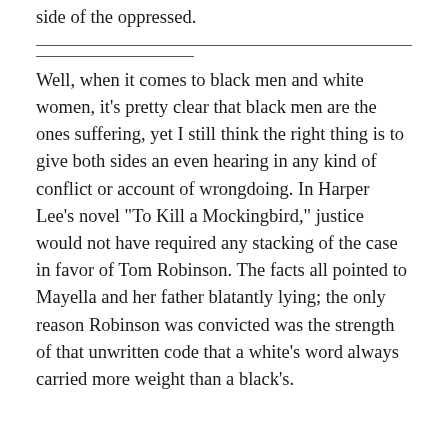side of the oppressed.
Well, when it comes to black men and white women, it's pretty clear that black men are the ones suffering, yet I still think the right thing is to give both sides an even hearing in any kind of conflict or account of wrongdoing. In Harper Lee's novel "To Kill a Mockingbird," justice would not have required any stacking of the case in favor of Tom Robinson. The facts all pointed to Mayella and her father blatantly lying; the only reason Robinson was convicted was the strength of that unwritten code that a white's word always carried more weight than a black's.